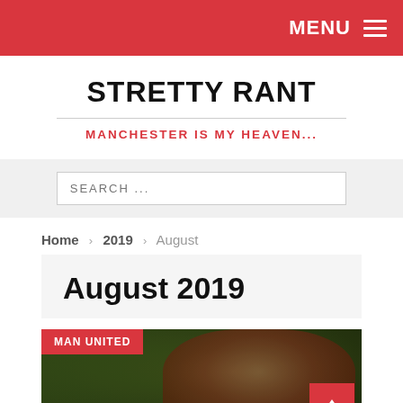MENU
STRETTY RANT
MANCHESTER IS MY HEAVEN...
SEARCH ...
Home > 2019 > August
August 2019
[Figure (photo): Manchester United player in red kit with crowd/stadium background. Category label 'MAN UNITED' overlaid at top-left. Scroll-to-top button at bottom-right.]